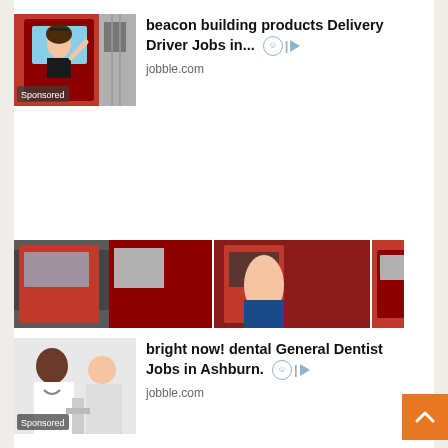[Figure (screenshot): Top sponsored ad with a woman waving from a red truck cab. Sponsored label overlaid on image. Ad title: 'beacon building products Delivery Driver Jobs in...' from jobble.com]
[Figure (screenshot): Bottom section showing partial images of red trucks/vehicles and a bottom sponsored ad for 'bright now! dental General Dentist Jobs in Ashburn.' from jobble.com with a person in dental office image.]
[Figure (other): Orange back-to-top chevron button in lower right corner]